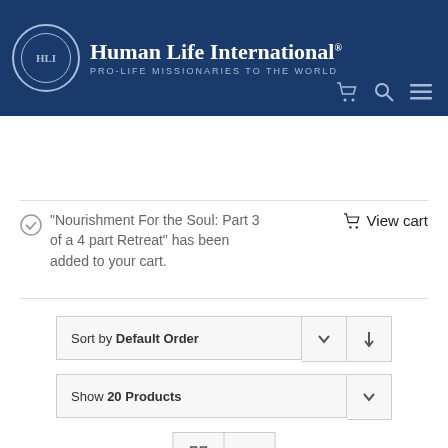[Figure (logo): Human Life International logo with circular emblem and organization name]
“Nourishment For the Soul: Part 3 of a 4 part Retreat” has been added to your cart.
View cart
Sort by Default Order
Show 20 Products